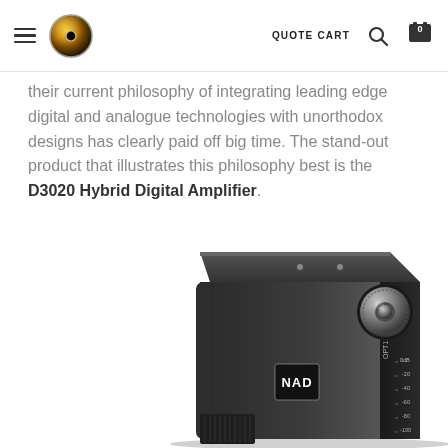QUOTE CART
their current philosophy of integrating leading edge digital and analogue technologies with unorthodox designs has clearly paid off big time. The stand-out product that illustrates this philosophy best is the D3020 Hybrid Digital Amplifier.
[Figure (photo): NAD D3020 Hybrid Digital Amplifier product photo showing a sleek black device with rounded corners, NAD logo, volume knob, OPT1 input label, and dB level markings (-20, -40, -60, -80, -100)]